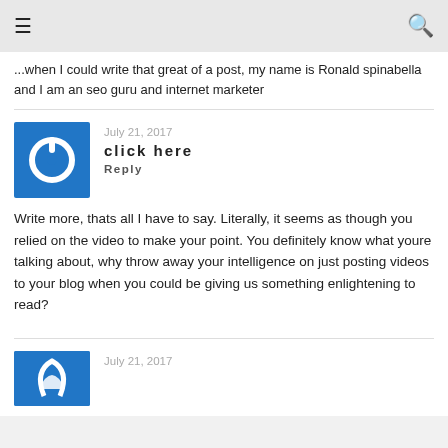≡  🔍
...when I could write that great of a post, my name is Ronald spinabella and I am an seo guru and internet marketer
July 21, 2017
click here
Reply
Write more, thats all I have to say. Literally, it seems as though you relied on the video to make your point. You definitely know what youre talking about, why throw away your intelligence on just posting videos to your blog when you could be giving us something enlightening to read?
July 21, 2017